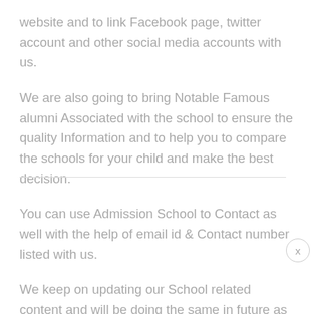website and to link Facebook page, twitter account and other social media accounts with us.
We are also going to bring Notable Famous alumni Associated with the school to ensure the quality Information and to help you to compare the schools for your child and make the best decision.
You can use Admission School to Contact as well with the help of email id & Contact number listed with us.
We keep on updating our School related content and will be doing the same in future as well and parents